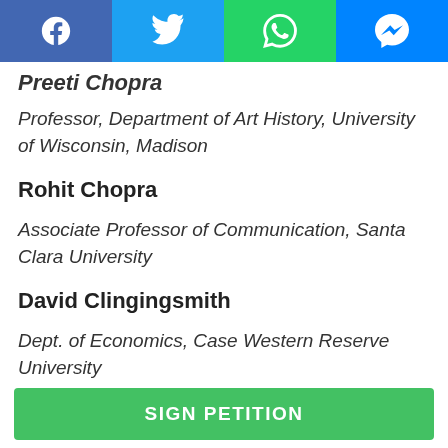[Figure (screenshot): Social sharing bar with Facebook, Twitter, WhatsApp, and Messenger icons on a colored background]
Preeti Chopra
Professor, Department of Art History, University of Wisconsin, Madison
Rohit Chopra
Associate Professor of Communication, Santa Clara University
David Clingingsmith
Dept. of Economics, Case Western Reserve University
SIGN PETITION